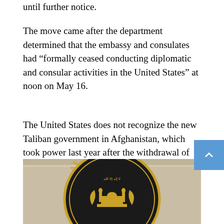until further notice.
The move came after the department determined that the embassy and consulates had “formally ceased conducting diplomatic and consular activities in the United States” at noon on May 16.
The United States does not recognize the new Taliban government in Afghanistan, which took power last year after the withdrawal of American and allied troops, and does not have formal diplomatic relations with the country.
[Figure (photo): Close-up photo of an official Afghanistan embassy seal/plaque showing the word AFGHANISTAN around the top arc of a circular dark badge with gold lettering and a mosque/government building emblem in the center]